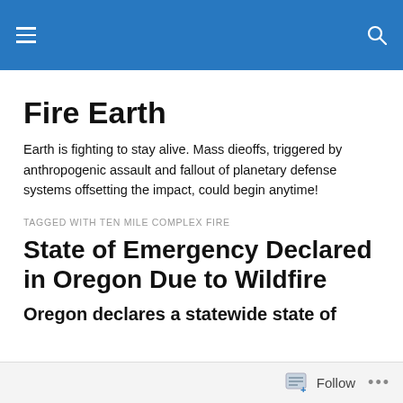Fire Earth [navigation header with hamburger menu and search icon]
Fire Earth
Earth is fighting to stay alive. Mass dieoffs, triggered by anthropogenic assault and fallout of planetary defense systems offsetting the impact, could begin anytime!
TAGGED WITH TEN MILE COMPLEX FIRE
State of Emergency Declared in Oregon Due to Wildfire
Oregon declares a statewide state of
Follow ...